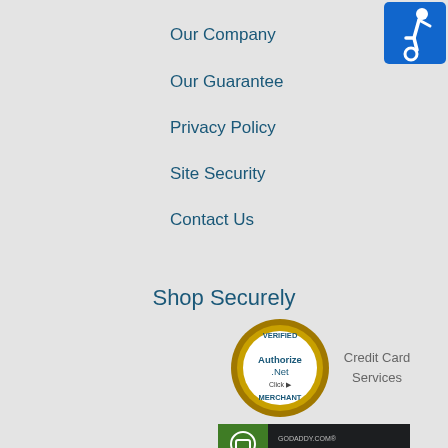Our Company
Our Guarantee
Privacy Policy
Site Security
Contact Us
[Figure (logo): Accessibility icon - white wheelchair user on blue background]
Shop Securely
[Figure (logo): Authorize.Net Verified Merchant seal - gold circular badge with blue text]
Credit Card Services
[Figure (logo): GoDaddy.com Verified & Secured badge - dark background with green shield icon]
Now Accepting:
[Figure (logo): PayPal logo - white background with PayPal blue P logo and PayPal wordmark]
I'm PayPal Verified